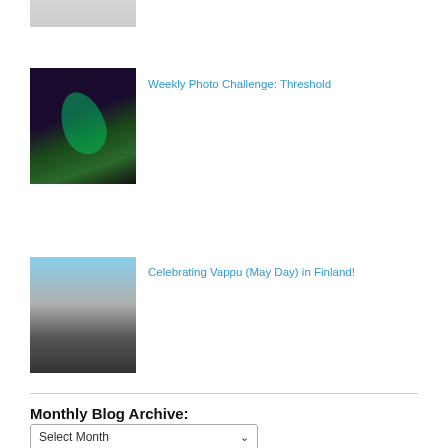[Figure (photo): Partial thumbnail image at top, cut off]
Weekly Photo Challenge: Threshold
[Figure (photo): Aurora borealis with person silhouette]
Celebrating Vappu (May Day) in Finland!
[Figure (photo): Crowd at May Day celebration in Finland]
Monthly Blog Archive:
Select Month
50 Fellow bloggers in the Red Pin Community:
[Figure (photo): Row of blogger profile thumbnails]